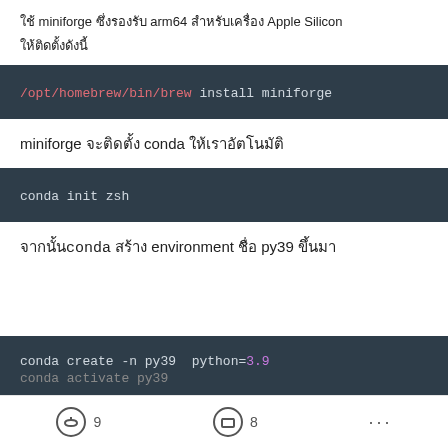ใช้ miniforge ซึ่งรองรับ arm64 สำหรับเครื่อง Apple Silicon
ให้ติดตั้งดังนี้
[Figure (screenshot): Code block showing: /opt/homebrew/bin/brew install miniforge]
miniforge จะติดตั้ง conda ให้เราอัตโนมัติ
[Figure (screenshot): Code block showing: conda init zsh]
จากนั้น conda สร้าง environment ชื่อ py39 ขึ้นมา
[Figure (screenshot): Code block showing: conda create -n py39  python=3.9 and conda activate py39]
9  8  ...